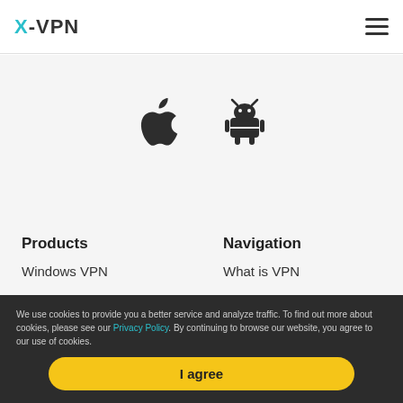X-VPN
[Figure (logo): Apple iOS icon and Android robot icon side by side]
Products
Windows VPN
Mac VPN
Android VPN
iOS VPN
Navigation
What is VPN
Feature
Download
Pricing
We use cookies to provide you a better service and analyze traffic. To find out more about cookies, please see our Privacy Policy. By continuing to browse our website, you agree to our use of cookies.
I agree